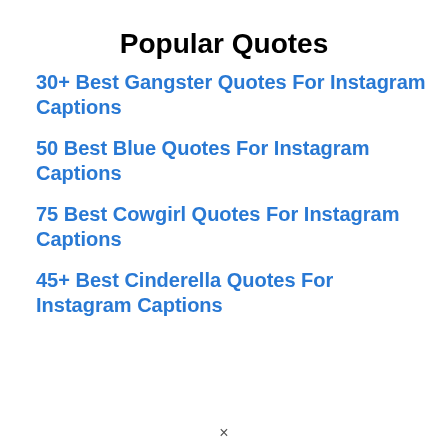Popular Quotes
30+ Best Gangster Quotes For Instagram Captions
50 Best Blue Quotes For Instagram Captions
75 Best Cowgirl Quotes For Instagram Captions
45+ Best Cinderella Quotes For Instagram Captions
×